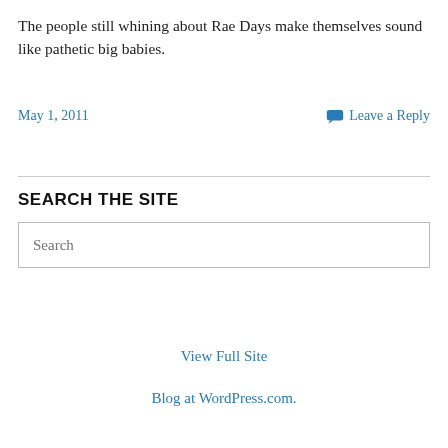The people still whining about Rae Days make themselves sound like pathetic big babies.
May 1, 2011
Leave a Reply
SEARCH THE SITE
Search
View Full Site
Blog at WordPress.com.